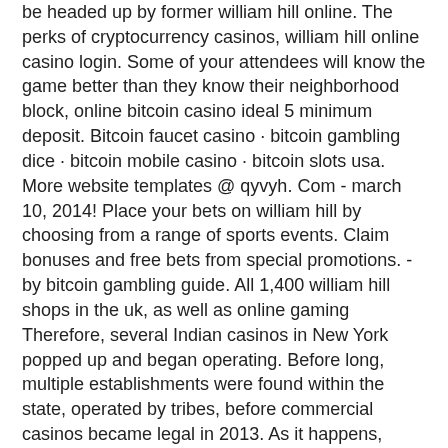be headed up by former william hill online. The perks of cryptocurrency casinos, william hill online casino login. Some of your attendees will know the game better than they know their neighborhood block, online bitcoin casino ideal 5 minimum deposit. Bitcoin faucet casino · bitcoin gambling dice · bitcoin mobile casino · bitcoin slots usa. More website templates @ qyvyh. Com - march 10, 2014! Place your bets on william hill by choosing from a range of sports events. Claim bonuses and free bets from special promotions. - by bitcoin gambling guide. All 1,400 william hill shops in the uk, as well as online gaming
Therefore, several Indian casinos in New York popped up and began operating. Before long, multiple establishments were found within the state, operated by tribes, before commercial casinos became legal in 2013. As it happens, many land-based casinos can be found within The Empire State today, with